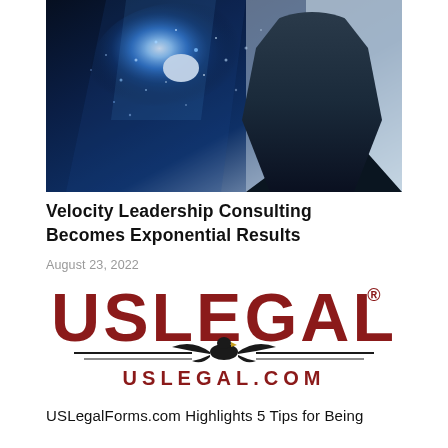[Figure (photo): A silhouetted human profile with glowing blue light and particles emanating from the head, suggesting AI or futuristic thinking concept, against a dark blue background.]
Velocity Leadership Consulting Becomes Exponential Results
August 23, 2022
[Figure (logo): USLegal logo in dark red/maroon, large bold text 'USLEGAL' with registered trademark symbol, decorative eagle and horizontal bars beneath, and 'USLEGAL.COM' in matching red below.]
USLegalForms.com Highlights 5 Tips for Being